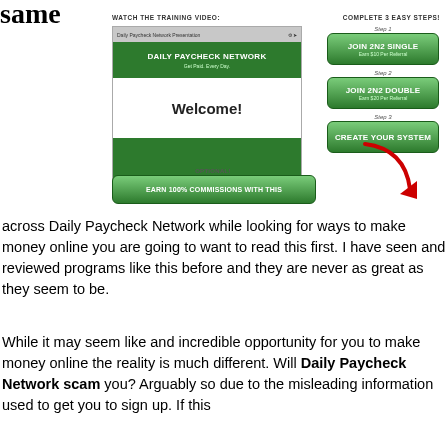same
[Figure (screenshot): Screenshot of Daily Paycheck Network website showing a video player with 'Daily Paycheck Network / Welcome!' and three step buttons: Step 1 Join 2N2 Single (Earn $10 Per Referral), Step 2 Join 2N2 Double (Earn $20 Per Referral), Step 3 Create Your System. An optional button 'Earn 100% Commissions With This' appears at the bottom with a red arrow pointing to Step 3.]
across Daily Paycheck Network while looking for ways to make money online you are going to want to read this first. I have seen and reviewed programs like this before and they are never as great as they seem to be.
While it may seem like and incredible opportunity for you to make money online the reality is much different. Will Daily Paycheck Network scam you? Arguably so due to the misleading information used to get you to sign up. If this